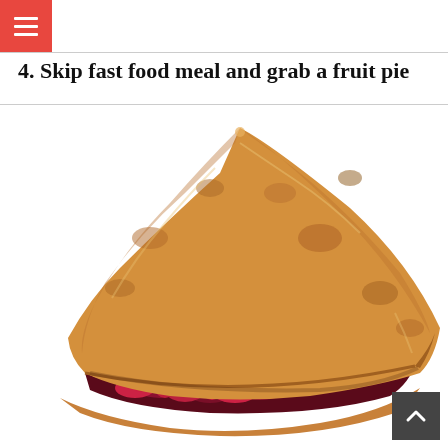≡
4. Skip fast food meal and grab a fruit pie
[Figure (photo): A slice of fruit pie (cherry pie) with a golden-brown flaky crust, showing dark red cherry filling, on a white background.]